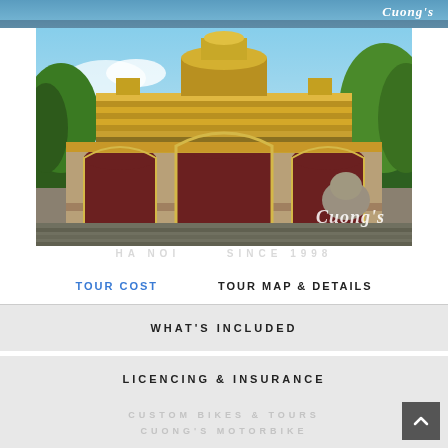[Figure (photo): Top blue strip with Cuong's logo/branding watermark in white italic script on right side]
[Figure (photo): Photograph of a Vietnamese imperial gate (Hue Citadel) with ornate yellow and red architecture, three arched red doorways, green trees, blue sky. Cuong's watermark in italic script at bottom right of photo.]
TOUR COST
TOUR MAP & DETAILS
WHAT'S INCLUDED
LICENCING & INSURANCE